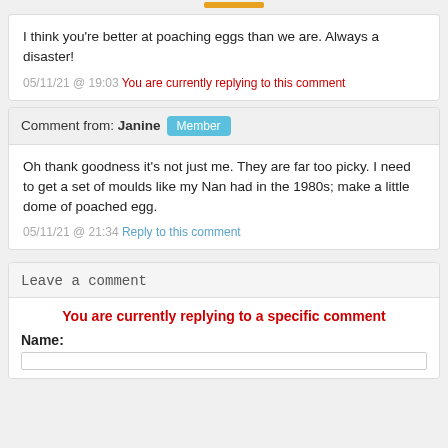I think you're better at poaching eggs than we are. Always a disaster!
05/11/21 @ 19:03 You are currently replying to this comment
Comment from: Janine Member
Oh thank goodness it's not just me. They are far too picky. I need to get a set of moulds like my Nan had in the 1980s; make a little dome of poached egg.
05/11/21 @ 21:34 Reply to this comment
Leave a comment
You are currently replying to a specific comment
Name: